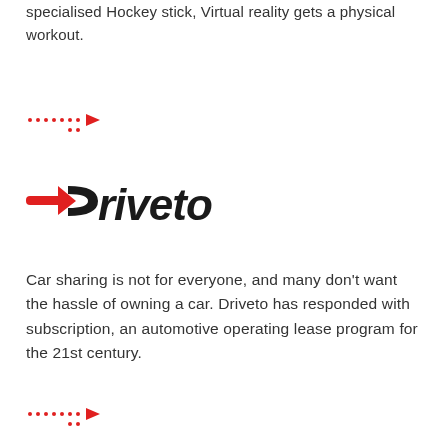specialised Hockey stick, Virtual reality gets a physical workout.
[Figure (illustration): Red dotted arrow pointing right]
[Figure (logo): Driveto logo — red arrow/D shape followed by 'riveto' in black bold italic text]
Car sharing is not for everyone, and many don't want the hassle of owning a car. Driveto has responded with subscription, an automotive operating lease program for the 21st century.
[Figure (illustration): Red dotted arrow pointing right]